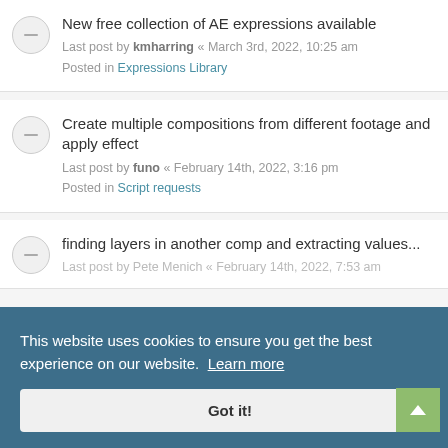New free collection of AE expressions available
Last post by kmharring « March 3rd, 2022, 10:25 am
Posted in Expressions Library
Create multiple compositions from different footage and apply effect
Last post by funo « February 14th, 2022, 3:16 pm
Posted in Script requests
finding layers in another comp and extracting values...
Last post by Pete Menich « February 14th, 2022, 7:53 am
Parent un-Parented Layers
Last post by LaurieGibbs « January 10th, 2022, 9:13 am
Posted in Script requests
This website uses cookies to ensure you get the best experience on our website. Learn more
Got it!
Move file from Project Panel to...